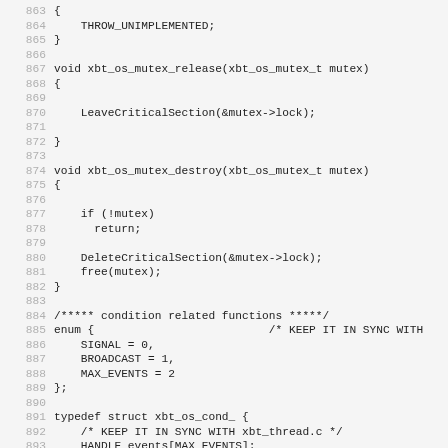863 {
864     THROW_UNIMPLEMENTED;
865 }
866 
867 void xbt_os_mutex_release(xbt_os_mutex_t mutex)
868 {
869 
870     LeaveCriticalSection(&mutex->lock);
871 
872 }
873 
874 void xbt_os_mutex_destroy(xbt_os_mutex_t mutex)
875 {
876 
877     if (!mutex)
878       return;
879 
880     DeleteCriticalSection(&mutex->lock);
881     free(mutex);
882 }
883 
884 /***** condition related functions *****/
885 enum {                          /* KEEP IT IN SYNC WITH
886     SIGNAL = 0,
887     BROADCAST = 1,
888     MAX_EVENTS = 2
889 };
890 
891 typedef struct xbt_os_cond_ {
892     /* KEEP IT IN SYNC WITH xbt_thread.c */
893     HANDLE events[MAX_EVENTS];
894